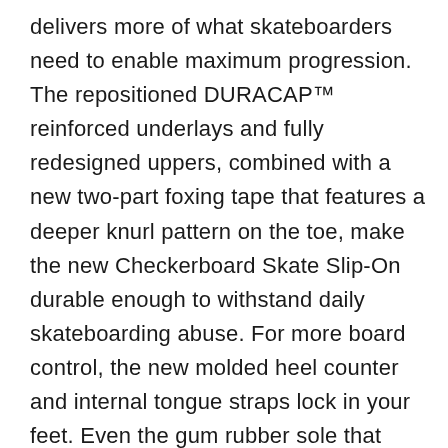delivers more of what skateboarders need to enable maximum progression. The repositioned DURACAP™ reinforced underlays and fully redesigned uppers, combined with a new two-part foxing tape that features a deeper knurl pattern on the toe, make the new Checkerboard Skate Slip-On durable enough to withstand daily skateboarding abuse. For more board control, the new molded heel counter and internal tongue straps lock in your feet. Even the gum rubber sole that made Vans famous has been elevated with the SICKSTICK™ rubber compound to deliver more grip and boardfeel. Plus, POPCUSH™ energy return sockliners provide superior cushioning and impact protection while helping to lessen leg fatigue for longer skate sessions. Internal heel stiffeners have also been added to provide more support and stability. The